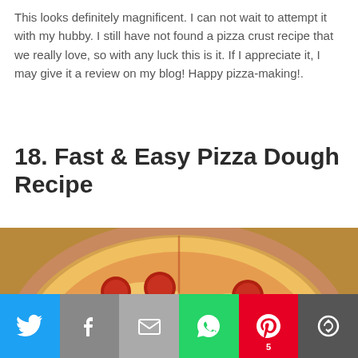This looks definitely magnificent. I can not wait to attempt it with my hubby. I still have not found a pizza crust recipe that we really love, so with any luck this is it. If I appreciate it, I may give it a review on my blog! Happy pizza-making!.
18. Fast & Easy Pizza Dough Recipe
[Figure (photo): A pepperoni pizza on a wooden board being cut with a pizza wheel cutter, with melted cheese and red tomato sauce visible.]
Social share bar with Twitter, Facebook, Email, WhatsApp, Pinterest (5), and More buttons